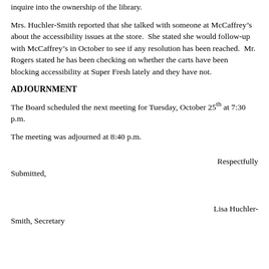inquire into the ownership of the library.
Mrs. Huchler-Smith reported that she talked with someone at McCaffrey’s about the accessibility issues at the store.  She stated she would follow-up with McCaffrey’s in October to see if any resolution has been reached.  Mr. Rogers stated he has been checking on whether the carts have been blocking accessibility at Super Fresh lately and they have not.
ADJOURNMENT
The Board scheduled the next meeting for Tuesday, October 25th at 7:30 p.m.
The meeting was adjourned at 8:40 p.m.
Respectfully Submitted,
Lisa Huchler-Smith, Secretary